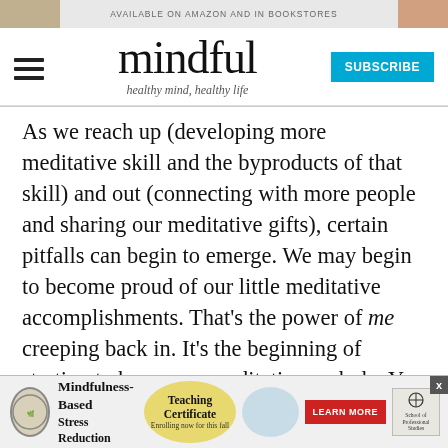AVAILABLE ON AMAZON AND IN BOOKSTORES
mindful — healthy mind, healthy life
As we reach up (developing more meditative skill and the byproducts of that skill) and out (connecting with more people and sharing our meditative gifts), certain pitfalls can begin to emerge. We may begin to become proud of our little meditative accomplishments. That's the power of me creeping back in. It's the beginning of starting to become a meditating asshole. You actually start to think that because you meditate (and/or practice yoga or whatever well-regarded beneficial thing you do), it means you are a big
[Figure (infographic): Bottom advertisement for Mindfulness-Based Stress Reduction Teaching Certificate, enrolling now for fall, with Learn More button and School of Professional Studies logo]